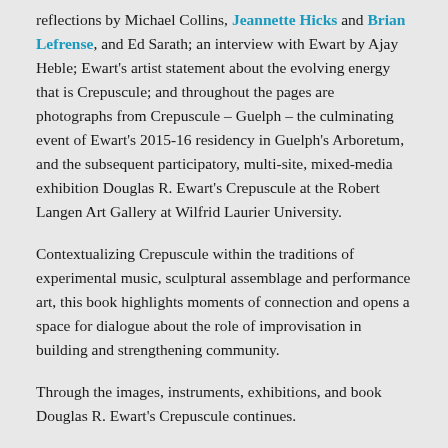reflections by Michael Collins, Jeannette Hicks and Brian Lefrense, and Ed Sarath; an interview with Ewart by Ajay Heble; Ewart's artist statement about the evolving energy that is Crepuscule; and throughout the pages are photographs from Crepuscule – Guelph – the culminating event of Ewart's 2015-16 residency in Guelph's Arboretum, and the subsequent participatory, multi-site, mixed-media exhibition Douglas R. Ewart's Crepuscule at the Robert Langen Art Gallery at Wilfrid Laurier University.
Contextualizing Crepuscule within the traditions of experimental music, sculptural assemblage and performance art, this book highlights moments of connection and opens a space for dialogue about the role of improvisation in building and strengthening community.
Through the images, instruments, exhibitions, and book Douglas R. Ewart's Crepuscule continues.